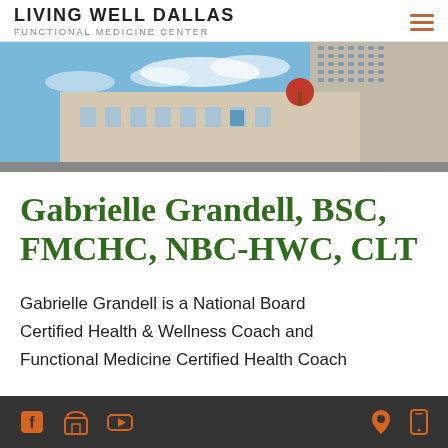LIVING WELL DALLAS Functional Medicine Center
[Figure (photo): Exterior photo of a multi-story office/commercial building in Dallas with blue sky and some clouds]
Gabrielle Grandell, BSC, FMCHC, NBC-HWC, CLT
Gabrielle Grandell is a National Board Certified Health & Wellness Coach and Functional Medicine Certified Health Coach
Social media icons (Facebook, Store, YouTube) on left; Location and Mobile icons on right